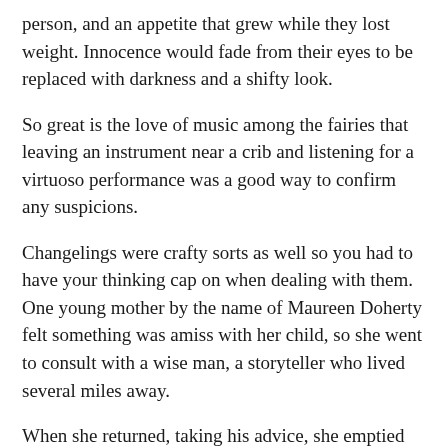person, and an appetite that grew while they lost weight. Innocence would fade from their eyes to be replaced with darkness and a shifty look.
So great is the love of music among the fairies that leaving an instrument near a crib and listening for a virtuoso performance was a good way to confirm any suspicions.
Changelings were crafty sorts as well so you had to have your thinking cap on when dealing with them. One young mother by the name of Maureen Doherty felt something was amiss with her child, so she went to consult with a wise man, a storyteller who lived several miles away.
When she returned, taking his advice, she emptied out the yolks from several eggs and filled them with water, seeing out of the corner of her eyes that the babe watched her every move closely.
“What are you about, ma?” asked the baby